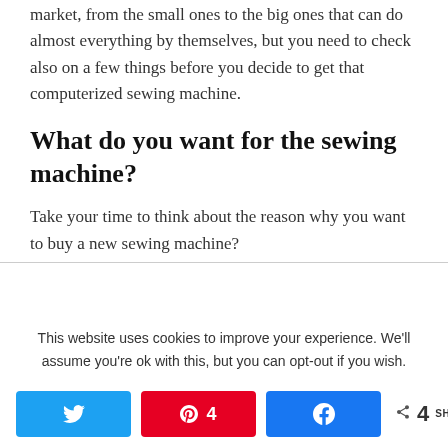market, from the small ones to the big ones that can do almost everything by themselves, but you need to check also on a few things before you decide to get that computerized sewing machine.
What do you want for the sewing machine?
Take your time to think about the reason why you want to buy a new sewing machine?
This website uses cookies to improve your experience. We'll assume you're ok with this, but you can opt-out if you wish.